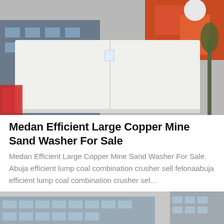[Figure (photo): Photo of a large white industrial sand washer machine being operated outdoors, with orange/red heavy equipment visible in the background and a building behind.]
Medan Efficient Large Copper Mine Sand Washer For Sale
Medan Efficient Large Copper Mine Sand Washer For Sale. Abuja efficient lump coal combination crusher sell felonaabuja efficient lump coal combination crusher sel...
[Figure (photo): Photo of industrial yellow/cream colored spiral or screw washing equipment outdoors in front of a multi-story building with Chinese characters on the facade.]